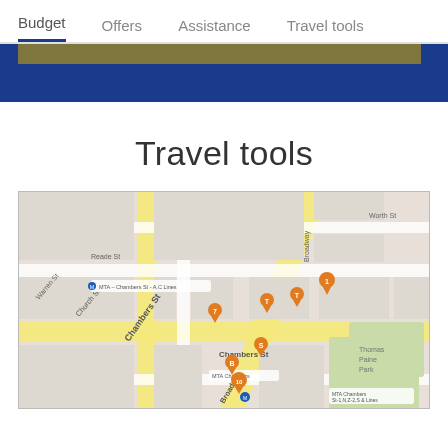Budget   Offers   Assistance   Travel tools
Travel tools
[Figure (map): Street map showing area around Chambers St, New York, with orange location pins marking various points of interest near Church St, Broadway, and Chambers St. Includes MTA Chambers St subway station markers.]